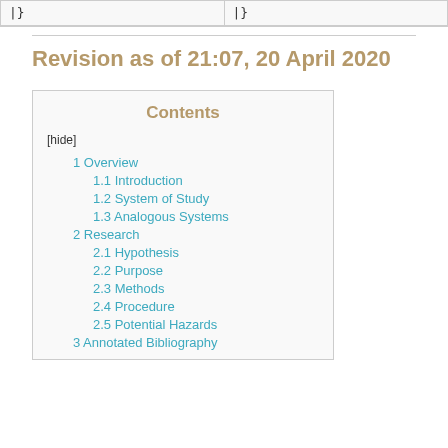|}
|}
Revision as of 21:07, 20 April 2020
Contents
[hide]
1 Overview
1.1 Introduction
1.2 System of Study
1.3 Analogous Systems
2 Research
2.1 Hypothesis
2.2 Purpose
2.3 Methods
2.4 Procedure
2.5 Potential Hazards
3 Annotated Bibliography